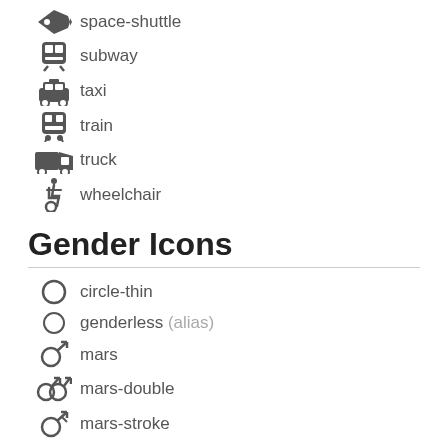space-shuttle
subway
taxi
train
truck
wheelchair
Gender Icons
circle-thin
genderless (alias)
mars
mars-double
mars-stroke